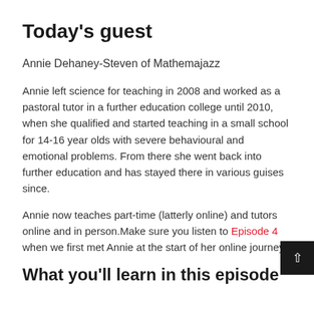Today's guest
Annie Dehaney-Steven of Mathemajazz
Annie left science for teaching in 2008 and worked as a pastoral tutor in a further education college until 2010, when she qualified and started teaching in a small school for 14-16 year olds with severe behavioural and emotional problems. From there she went back into further education and has stayed there in various guises since.
Annie now teaches part-time (latterly online) and tutors online and in person.Make sure you listen to Episode 4 when we first met Annie at the start of her online journey.
What you'll learn in this episode